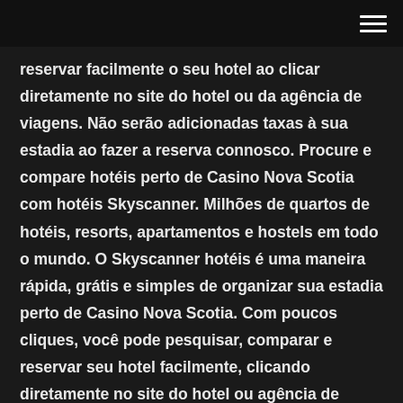reservar facilmente o seu hotel ao clicar diretamente no site do hotel ou da agência de viagens. Não serão adicionadas taxas à sua estadia ao fazer a reserva connosco. Procure e compare hotéis perto de Casino Nova Scotia com hotéis Skyscanner. Milhões de quartos de hotéis, resorts, apartamentos e hostels em todo o mundo. O Skyscanner hotéis é uma maneira rápida, grátis e simples de organizar sua estadia perto de Casino Nova Scotia. Com poucos cliques, você pode pesquisar, comparar e reservar seu hotel facilmente, clicando diretamente no site do hotel ou agência de viagem. Não são adicionadas taxas à sua estadia ao reservar conosco. Find all the helpful info you need to plan your visit to Nova Scotia, Canada. Discover the top things to see and do, along with unique experiences,